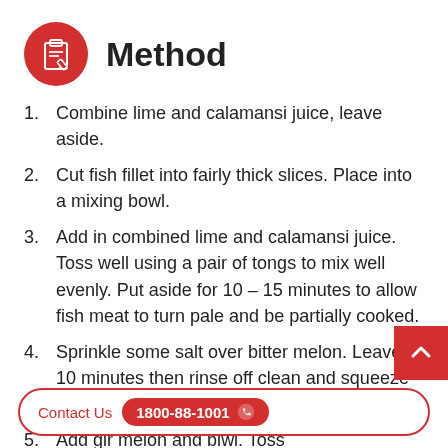Method
Combine lime and calamansi juice, leave aside.
Cut fish fillet into fairly thick slices. Place into a mixing bowl.
Add in combined lime and calamansi juice. Toss well using a pair of tongs to mix well evenly. Put aside for 10 – 15 minutes to allow fish meat to turn pale and be partially cooked.
Sprinkle some salt over bitter melon. Leave 10 minutes then rinse off clean and squeeze off excess water.
Add gi[nger] ... [bitte]r melon and bi[tter melon in bo]wl. Toss